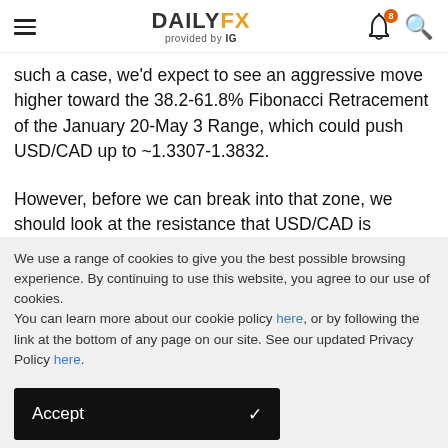DAILYFX provided by IG
such a case, we'd expect to see an aggressive move higher toward the 38.2-61.8% Fibonacci Retracement of the January 20-May 3 Range, which could push USD/CAD up to ~1.3307-1.3832.
However, before we can break into that zone, we should look at the resistance that USD/CAD is currently respecting. First, we have seen an original high a few weeks after the May low at 1.3187 that has yet to break over a month later. In the subsequent 35+ days, we've found resistance a bit
We use a range of cookies to give you the best possible browsing experience. By continuing to use this website, you agree to our use of cookies.
You can learn more about our cookie policy here, or by following the link at the bottom of any page on our site. See our updated Privacy Policy here.
Accept